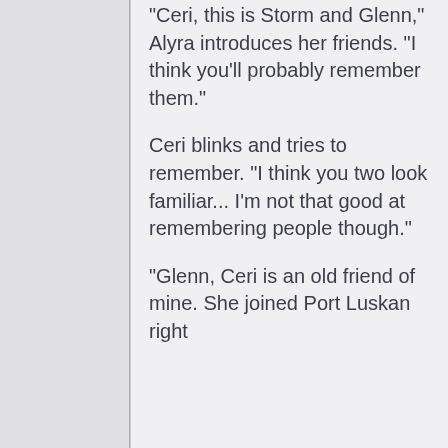Ceri, this is Storm and Glenn," Alyra introduces her friends. "I think you'll probably remember them."
Ceri blinks and tries to remember. "I think you two look familiar... I'm not that good at remembering people though."
"Glenn, Ceri is an old friend of mine. She joined Port Luskan right